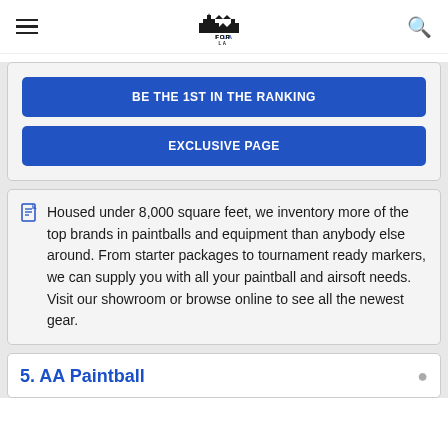FOR LA LOVERS (logo with hamburger menu and search icon)
BE THE 1ST IN THE RANKING
EXCLUSIVE PAGE
Housed under 8,000 square feet, we inventory more of the top brands in paintballs and equipment than anybody else around. From starter packages to tournament ready markers, we can supply you with all your paintball and airsoft needs. Visit our showroom or browse online to see all the newest gear.
5. AA Paintball